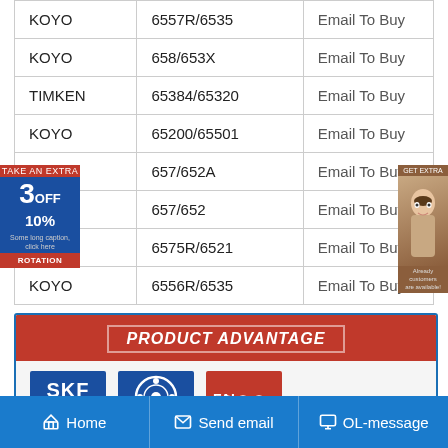| Brand | Model | Action |
| --- | --- | --- |
| KOYO | 6557R/6535 | Email To Buy |
| KOYO | 658/653X | Email To Buy |
| TIMKEN | 65384/65320 | Email To Buy |
| KOYO | 65200/65501 | Email To Buy |
| KOYO | 657/652A | Email To Buy |
| KOYO | 657/652 | Email To Buy |
| KOYO | 6575R/6521 | Email To Buy |
| KOYO | 6556R/6535 | Email To Buy |
[Figure (infographic): Product Advantage section with brand logos: SKF, NSK, FAG]
Home   Send email   OL-message